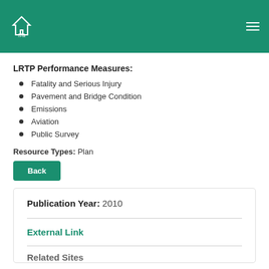TPW navigation header
LRTP Performance Measures:
Fatality and Serious Injury
Pavement and Bridge Condition
Emissions
Aviation
Public Survey
Resource Types: Plan
Back
Publication Year: 2010
External Link
Related Sites